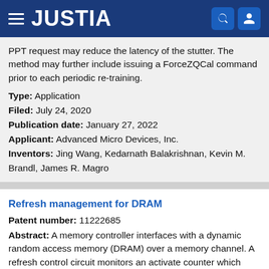JUSTIA
PPT request may reduce the latency of the stutter. The method may further include issuing a ForceZQCal command prior to each periodic re-training.
Type: Application
Filed: July 24, 2020
Publication date: January 27, 2022
Applicant: Advanced Micro Devices, Inc.
Inventors: Jing Wang, Kedarnath Balakrishnan, Kevin M. Brandl, James R. Magro
Refresh management for DRAM
Patent number: 11222685
Abstract: A memory controller interfaces with a dynamic random access memory (DRAM) over a memory channel. A refresh control circuit monitors an activate counter which counts a rolling number of